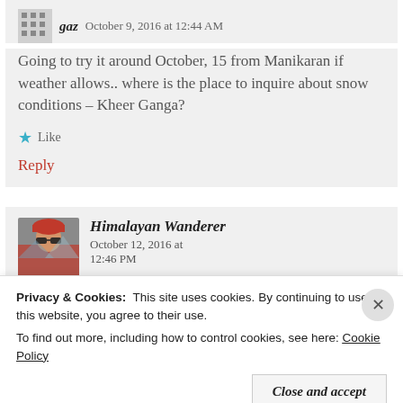gaz   October 9, 2016 at 12:44 AM
Going to try it around October, 15 from Manikaran if weather allows.. where is the place to inquire about snow conditions – Kheer Ganga?
Like
Reply
Himalayan Wanderer   October 12, 2016 at 12:46 PM
Privacy & Cookies:  This site uses cookies. By continuing to use this website, you agree to their use.
To find out more, including how to control cookies, see here: Cookie Policy
Close and accept